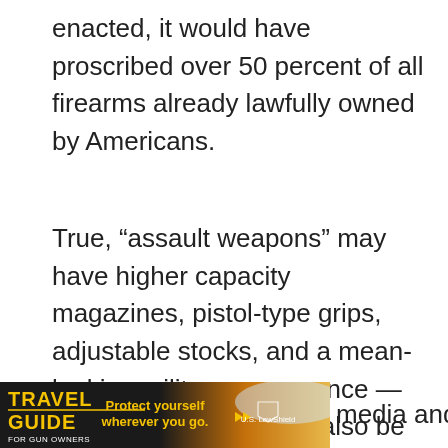enacted, it would have proscribed over 50 percent of all firearms already lawfully owned by Americans.
True, “assault weapons” may have higher capacity magazines, pistol-type grips, adjustable stocks, and a mean-looking military appearance — characteristics that are also be included in many hunting and recreational sporting rifles, handguns, and shotguns. But the fact remains that these firearms release one bullet with each pull of the trigger. They are not automatic
[Figure (photo): Travel Guide for Gun Owners advertisement banner with text 'Protect yourself wherever you go.' and US LawShield logo, dark background with sunset imagery]
media and